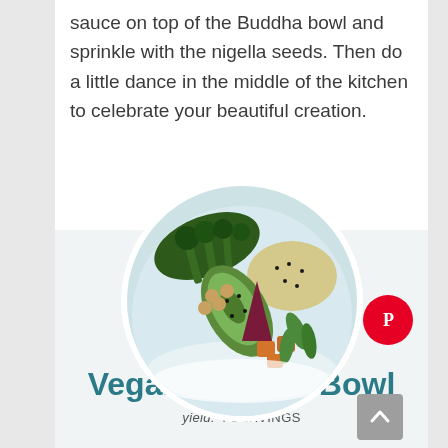sauce on top of the Buddha bowl and sprinkle with the nigella seeds. Then do a little dance in the middle of the kitchen to celebrate your beautiful creation.
[Figure (photo): Circular cropped overhead photo of a colorful vegan Buddha bowl containing roasted broccolini, avocado slices, beets, chickpeas, edamame, roasted sweet potato, quinoa, and green vegetables, served in a white bowl.]
Vegan Buddha Bowl
yield: 4 SERVINGS